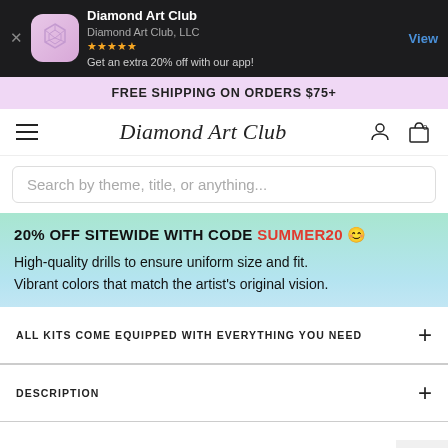[Figure (screenshot): App store banner for Diamond Art Club app with icon, name, company, stars, offer text, and View button on dark background]
FREE SHIPPING ON ORDERS $75+
[Figure (screenshot): Navigation bar with hamburger menu, Diamond Art Club script logo, user icon, and cart icon with 0 badge]
Search by theme, title, or anything...
20% OFF SITEWIDE WITH CODE SUMMER20 😊
High-quality drills to ensure uniform size and fit.
Vibrant colors that match the artist's original vision.
ALL KITS COME EQUIPPED WITH EVERYTHING YOU NEED
DESCRIPTION
Each Purchase Includes: